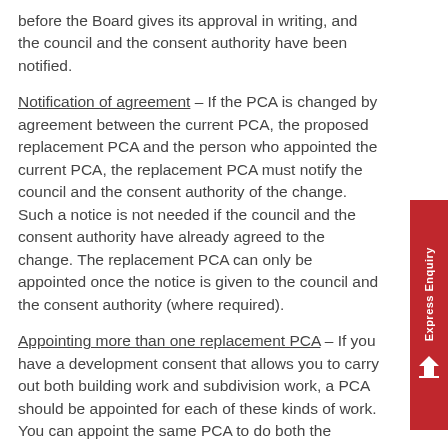before the Board gives its approval in writing, and the council and the consent authority have been notified.
Notification of agreement – If the PCA is changed by agreement between the current PCA, the proposed replacement PCA and the person who appointed the current PCA, the replacement PCA must notify the council and the consent authority of the change. Such a notice is not needed if the council and the consent authority have already agreed to the change. The replacement PCA can only be appointed once the notice is given to the council and the consent authority (where required).
Appointing more than one replacement PCA – If you have a development consent that allows you to carry out both building work and subdivision work, a PCA should be appointed for each of these kinds of work. You can appoint the same PCA to do both the